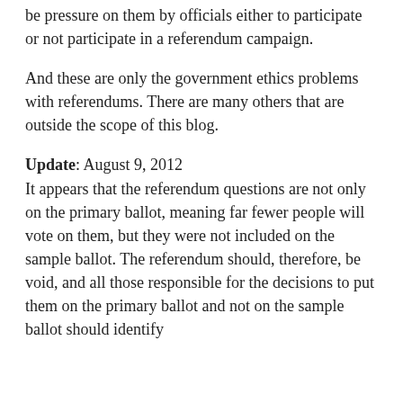be pressure on them by officials either to participate or not participate in a referendum campaign.
And these are only the government ethics problems with referendums. There are many others that are outside the scope of this blog.
Update: August 9, 2012
It appears that the referendum questions are not only on the primary ballot, meaning far fewer people will vote on them, but they were not included on the sample ballot. The referendum should, therefore, be void, and all those responsible for the decisions to put them on the primary ballot and not on the sample ballot should identify